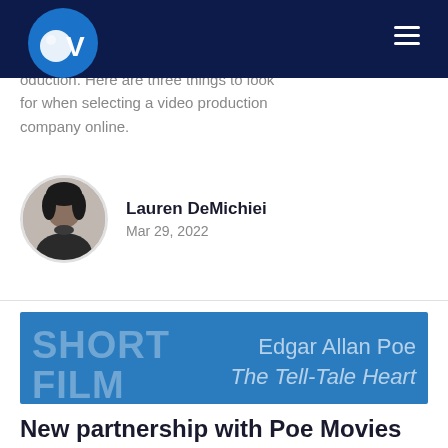OV [logo] navigation bar
oduction. Here are three things to look for when selecting a video production company online.
Lauren DeMichiei
Mar 29, 2022
[Figure (photo): Blue banner image with overlaid text: SHORT FILM on the left, Edgar Allan Poe / The Tell-Tale Heart on the right]
New partnership with Poe Movies for short-film, The Tell-